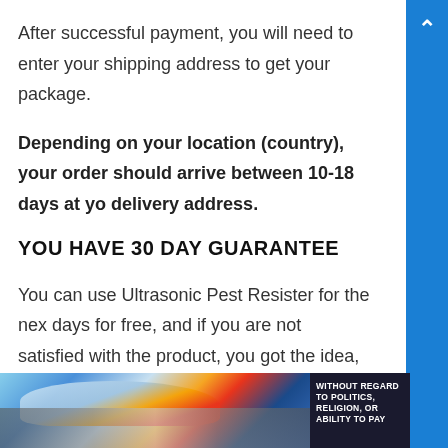After successful payment, you will need to enter your shipping address to get your package.
Depending on your location (country), your order should arrive between 10-18 days at your delivery address.
YOU HAVE 30 DAY GUARANTEE
You can use Ultrasonic Pest Resister for the next days for free, and if you are not satisfied with the product, you got the idea, you can return it to the company, and you will get a full refund)
[Figure (photo): Advertisement banner showing a cargo plane being loaded, with a dark overlay box containing text 'WITHOUT REGARD TO POLITICS, RELIGION, OR ABILITY TO PAY']